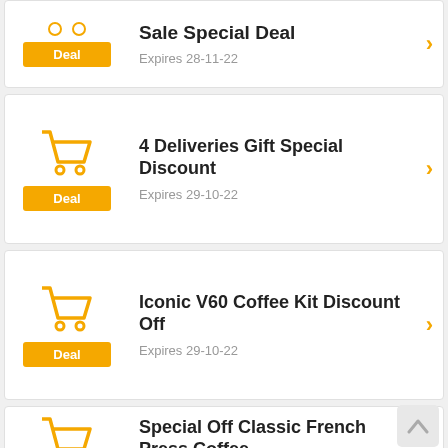[Figure (screenshot): Deal listing card (partial top): Sale Special Deal, Expires 28-11-22, with shopping cart icon and Deal button]
Sale Special Deal
Expires 28-11-22
[Figure (screenshot): Deal listing card: 4 Deliveries Gift Special Discount, Expires 29-10-22, with shopping cart icon and Deal button]
4 Deliveries Gift Special Discount
Expires 29-10-22
[Figure (screenshot): Deal listing card: Iconic V60 Coffee Kit Discount Off, Expires 29-10-22, with shopping cart icon and Deal button]
Iconic V60 Coffee Kit Discount Off
Expires 29-10-22
[Figure (screenshot): Deal listing card (partial bottom): Special Off Classic French Press Coffee, with shopping cart icon]
Special Off Classic French Press Coffee